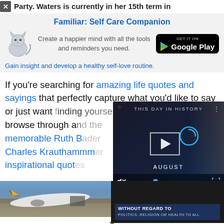Party. Waters is currently in her 15th term in
[Figure (screenshot): App advertisement banner for 'Familiar: Self Care Companion' with cat illustration and Google Play button. Tagline: Create a happier mind with all the tools and reminders you need. Gain insight and develop a healthy self-love routine.]
If you’re searching for amazing life quotes and sayings that perfectly capture what you’d like to say or just wan... browse through an... memorable Ruth B... Charles Krauthammer... inspirational quote...
[Figure (screenshot): Video overlay showing 'THIS DAY IN HISTORY' with play button, AUGUST text, mute icon, progress bar, and fullscreen button. Dark background with a woman visible.]
[Figure (screenshot): Bottom section showing two images side by side: left is a Southwest Airlines plane being loaded with cargo, right is a dark image with text 'WITHOUT REGARD TO POLITICS, RELIGION OR HEALTH TO ALL']
x